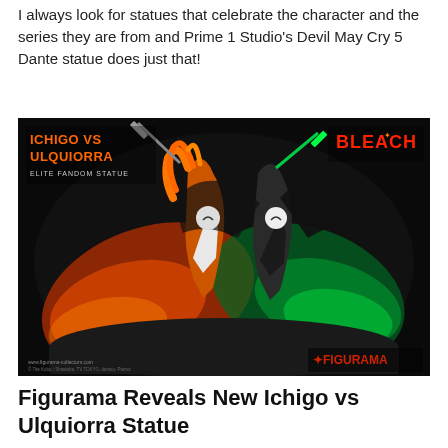I always look for statues that celebrate the character and the series they are from and Prime 1 Studio's Devil May Cry 5 Dante statue does just that!
[Figure (photo): Figurama Collectors Elite Fandom Statue of Ichigo vs Ulquiorra from Bleach. Two anime figures locked in combat, one with orange hair and red energy effects, one dark with green energy effects, on a dramatic dark base. BLEACH logo top right, Figurama logo bottom right.]
Figurama Reveals New Ichigo vs Ulquiorra Statue